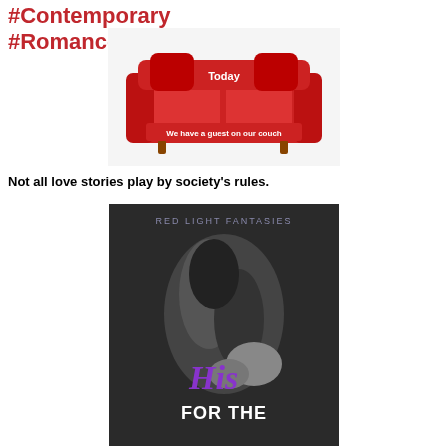#Contemporary #Romance
[Figure (illustration): Red couch/sofa with text 'Today' on the back cushion and 'We have a guest on our couch' on a banner in front, on a white background]
Not all love stories play by society’s rules.
[Figure (photo): Book cover for 'His For The...' by Red Light Fantasies series. Black and white image of an intimate couple, with purple and white script title text 'His FOR THE' visible at the bottom.]